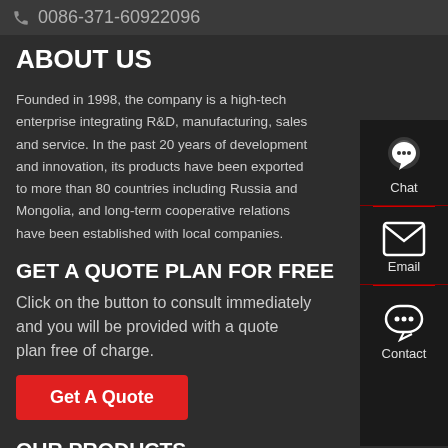0086-371-60922096
ABOUT US
Founded in 1998, the company is a high-tech enterprise integrating R&D, manufacturing, sales and service. In the past 20 years of development and innovation, its products have been exported to more than 80 countries including Russia and Mongolia, and long-term cooperative relations have been established with local companies.
GET A QUOTE PLAN FOR FREE
Click on the button to consult immediately and you will be provided with a quote plan free of charge.
Get A Quote
OUR PRODUCTS
[Figure (photo): Four product truck photos: red dump truck, green truck, orange truck with crane, blue dump truck]
[Figure (infographic): Sidebar with Chat (headset icon), Email (envelope icon), and Contact (speech bubble icon) options]